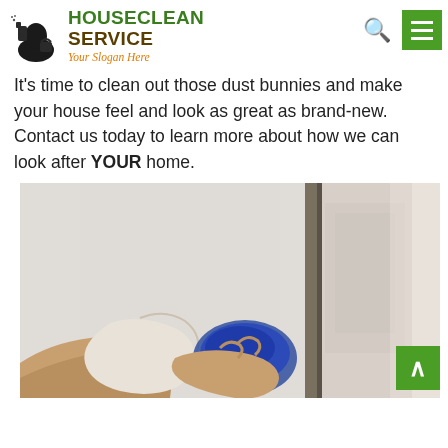[Figure (logo): HouseClean Service logo with cleaning spray bottle icon, green bold text 'HOUSECLEAN SERVICE' and orange italic slogan 'Your Slogan Here']
It's time to clean out those dust bunnies and make your house feel and look as great as brand-new. Contact us today to learn more about how we can look after YOUR home.
[Figure (photo): Photo of a person's gloved hand holding a blue cloth or sponge, wiping a white surface or door, with a mirror or glass panel visible]